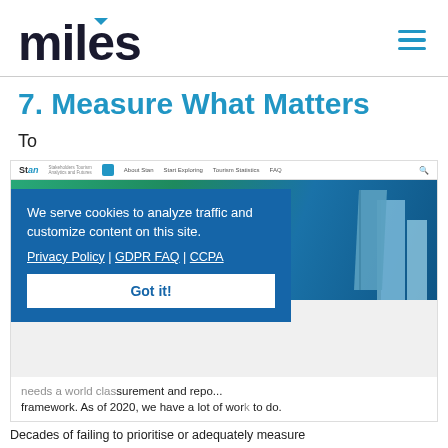[Figure (logo): Miles Partnership logo with blue arrow accent and 'PARTNERSHIP' text below]
7. Measure What Matters
To
[Figure (screenshot): Screenshot of Stan tourism analytics website with cookie consent overlay reading: We serve cookies to analyze traffic and customize content on this site. Privacy Policy | GDPR FAQ | CCPA. Got it! button.]
needs a world class measurement and reporting framework. As of 2020, we have a lot of work to do. Decades of failing to prioritise or adequately measure